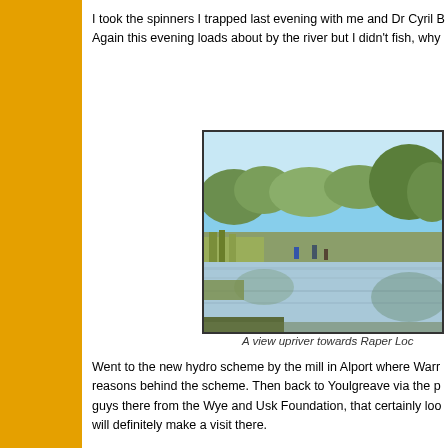I took the spinners I trapped last evening with me and Dr Cyril B... Again this evening loads about by the river but I didn't fish, why...
[Figure (photo): A river scene viewed from the bank, with trees and vegetation on both sides, calm water reflecting the surroundings, and figures visible in the distance. A view upriver towards Raper Loc...]
A view upriver towards Raper Loc...
Went to the new hydro scheme by the mill in Alport where Warr... reasons behind the scheme. Then back to Youlgreave via the p... guys there from the Wye and Usk Foundation, that certainly loo... will definitely make a visit there.